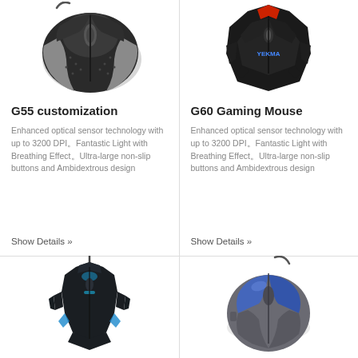[Figure (photo): G55 customization wired gaming mouse - black with silver accents, top view]
G55 customization
Enhanced optical sensor technology with up to 3200 DPI。Fantastic Light with Breathing Effect。Ultra-large non-slip buttons and Ambidextrous design
Show Details »
[Figure (photo): G60 Gaming Mouse - black angular gaming mouse with red accents and YEKMA branding, top view]
G60 Gaming Mouse
Enhanced optical sensor technology with up to 3200 DPI。Fantastic Light with Breathing Effect。Ultra-large non-slip buttons and Ambidextrous design
Show Details »
[Figure (photo): Black gaming mouse with blue LED lighting accents, angular design, top view]
[Figure (photo): Blue and grey wired optical mouse, standard design, top view]